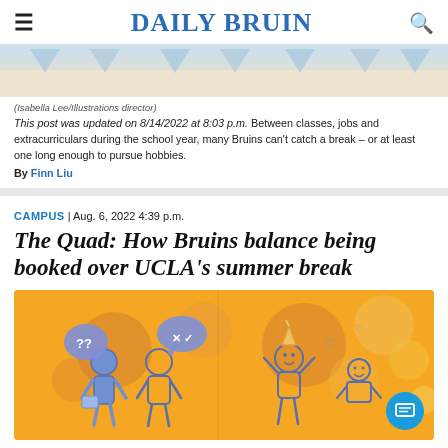DAILY BRUIN
[Figure (illustration): Decorative banner image with blue pennant flags on a beige/cream background — top portion of an article illustration]
(Isabella Lee/Illustrations director)
This post was updated on 8/14/2022 at 8:03 p.m. Between classes, jobs and extracurriculars during the school year, many Bruins can't catch a break – or at least one long enough to pursue hobbies.
By Finn Liu
CAMPUS | Aug. 6, 2022 4:39 p.m.
The Quad: How Bruins balance being booked over UCLA's summer break
[Figure (illustration): Orange-background illustration showing cartoon blue stick-figure people – two on the left with thought bubbles containing question marks and check/x marks, and two on the right celebrating with raised arms and party hats, with decorative circles in the background and a blue chat button overlay in the bottom right corner]